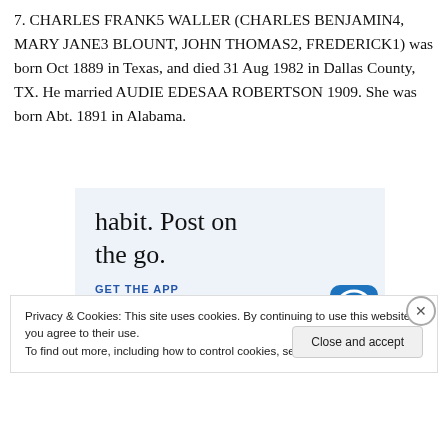7. CHARLES FRANK5 WALLER (CHARLES BENJAMIN4, MARY JANE3 BLOUNT, JOHN THOMAS2, FREDERICK1) was born Oct 1889 in Texas, and died 31 Aug 1982 in Dallas County, TX. He married AUDIE EDESAA ROBERTSON 1909. She was born Abt. 1891 in Alabama.
[Figure (screenshot): Advertisement banner with text 'habit. Post on the go.' and a 'GET THE APP' call to action with WordPress icon, on a light blue background.]
Privacy & Cookies: This site uses cookies. By continuing to use this website, you agree to their use.
To find out more, including how to control cookies, see here: Cookie Policy
Close and accept